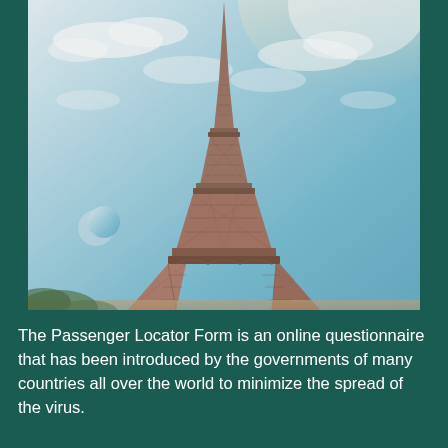[Figure (photo): Upward-angle photograph of the Eiffel Tower against a partly cloudy blue sky, with a faint crescent moon visible to the lower left. The tower fills the frame vertically. The image is framed on the left and right by dark teal/green vertical borders.]
The Passenger Locator Form is an online questionnaire that has been introduced by the governments of many countries all over the world to minimize the spread of the virus.